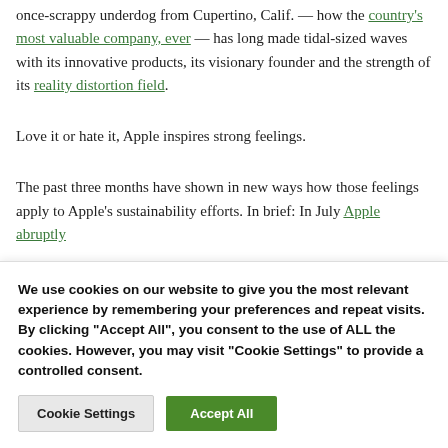once-scrappy underdog from Cupertino, Calif. — how the country's most valuable company, ever — has long made tidal-sized waves with its innovative products, its visionary founder and the strength of its reality distortion field.
Love it or hate it, Apple inspires strong feelings.
The past three months have shown in new ways how those feelings apply to Apple's sustainability efforts. In brief: In July Apple abruptly
We use cookies on our website to give you the most relevant experience by remembering your preferences and repeat visits. By clicking "Accept All", you consent to the use of ALL the cookies. However, you may visit "Cookie Settings" to provide a controlled consent.